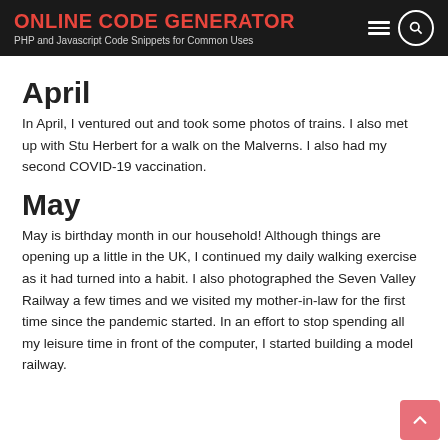ONLINE CODE GENERATOR
PHP and Javascript Code Snippets for Common Uses
April
In April, I ventured out and took some photos of trains. I also met up with Stu Herbert for a walk on the Malverns. I also had my second COVID-19 vaccination.
May
May is birthday month in our household! Although things are opening up a little in the UK, I continued my daily walking exercise as it had turned into a habit. I also photographed the Seven Valley Railway a few times and we visited my mother-in-law for the first time since the pandemic started. In an effort to stop spending all my leisure time in front of the computer, I started building a model railway.